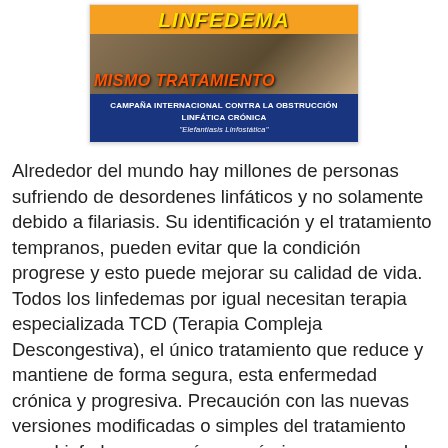[Figure (illustration): Promotional image for lymphedema awareness campaign. Top orange banner with yellow text 'LINFEDEMA'. Middle section shows a photo with orange text 'MISMO TRATAMIENTO'. Bottom blue banner reads 'CAMPAÑA INTERNACIONAL CONTRA LA OBSTRUCCIÓN LINFÁTICA CRÓNICA' and subtitle '"Elefantiasis Linfostática"'.]
Alrededor del mundo hay millones de personas sufriendo de desordenes linfáticos y no solamente debido a filariasis. Su identificación y el tratamiento tempranos, pueden evitar que la condición progrese y esto puede mejorar su calidad de vida. Todos los linfedemas por igual necesitan terapia especializada TCD (Terapia Compleja Descongestiva), el único tratamiento que reduce y mantiene de forma segura, esta enfermedad crónica y progresiva. Precaución con las nuevas versiones modificadas o simples del tratamiento para Linfedma, son más económicas, pero pueden tener efectos secundarios muy graves. (ver:http://www.linfedemagalicia.com/2017/05/cuidado-con-las-nuevas-terminologias-y.html).